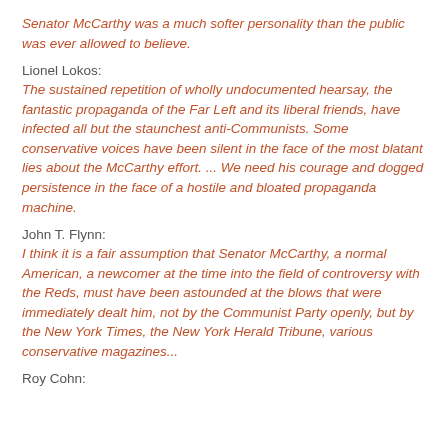Senator McCarthy was a much softer personality than the public was ever allowed to believe.
Lionel Lokos:
The sustained repetition of wholly undocumented hearsay, the fantastic propaganda of the Far Left and its liberal friends, have infected all but the staunchest anti-Communists. Some conservative voices have been silent in the face of the most blatant lies about the McCarthy effort. ... We need his courage and dogged persistence in the face of a hostile and bloated propaganda machine.
John T. Flynn:
I think it is a fair assumption that Senator McCarthy, a normal American, a newcomer at the time into the field of controversy with the Reds, must have been astounded at the blows that were immediately dealt him, not by the Communist Party openly, but by the New York Times, the New York Herald Tribune, various conservative magazines...
Roy Cohn: